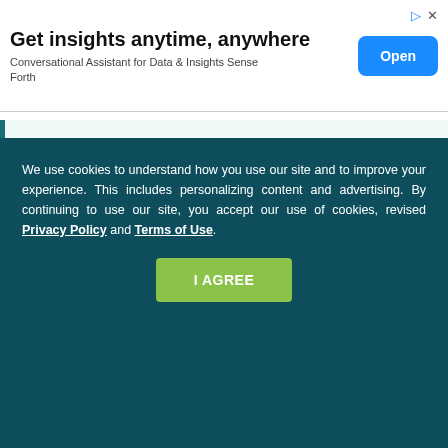[Figure (other): Advertisement banner: 'Get insights anytime, anywhere — Conversational Assistant for Data & Insights Sense Forth' with a blue 'Open' button and ad icons.]
Credentialing organizations: American Registry of Magnetic Resonance Imaging Technologists
We use cookies to understand how you use our site and to improve your experience. This includes personalizing content and advertising. By continuing to use our site, you accept our use of cookies, revised Privacy Policy and Terms of Use.